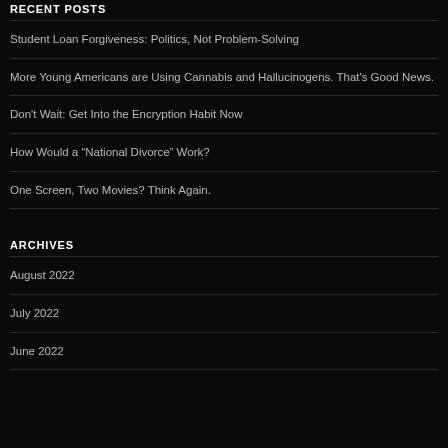RECENT POSTS
Student Loan Forgiveness: Politics, Not Problem-Solving
More Young Americans are Using Cannabis and Hallucinogens. That's Good News.
Don't Wait: Get Into the Encryption Habit Now
How Would a “National Divorce” Work?
One Screen, Two Movies? Think Again.
ARCHIVES
August 2022
July 2022
June 2022